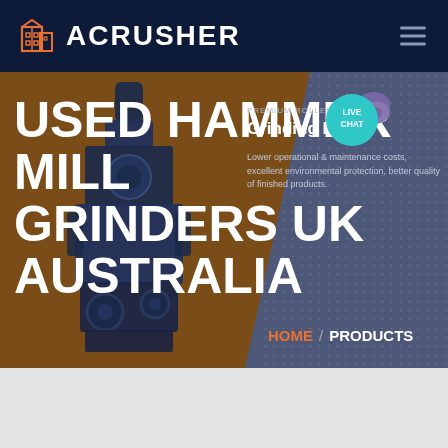[Figure (logo): ACRUSHER company logo with orange building icon and white text on dark navy header bar]
USED HAMMER MILL GRINDERS UK AUSTRALIA
Premium Roller Grinding Mill
Lower operational & maintenance costs, excellent environmental protection, better quality of finished products.
HOME / PRODUCTS
[Figure (photo): Industrial hammer mill grinder machine, dark blue heavy-duty equipment on brown background]